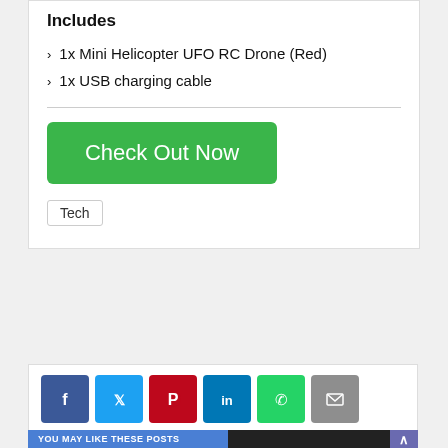Includes
1x Mini Helicopter UFO RC Drone (Red)
1x USB charging cable
[Figure (other): Green 'Check Out Now' button]
Tech
[Figure (infographic): Social share icons row: Facebook, Twitter, Pinterest, LinkedIn, WhatsApp, Email]
YOU MAY LIKE THESE POSTS